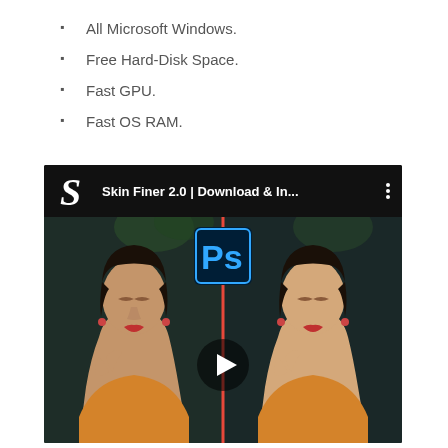All Microsoft Windows.
Free Hard-Disk Space.
Fast GPU.
Fast OS RAM.
[Figure (screenshot): YouTube-style video thumbnail showing 'Skin Finer 2.0 | Download & In...' with a before/after comparison of a woman's portrait edited in Photoshop. The top bar shows the video title, a stylized S logo, and a three-dot menu. A Photoshop (Ps) icon and play button are overlaid on the center of the image.]